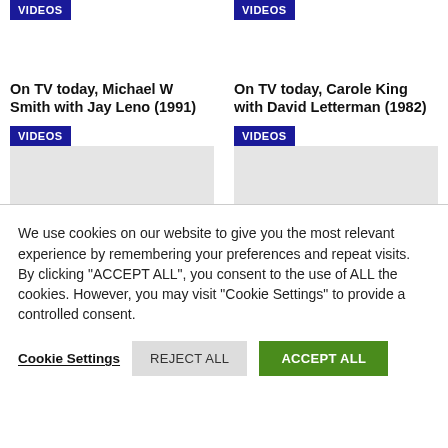[Figure (screenshot): VIDEOS badge at top of left card (partially cropped)]
[Figure (screenshot): VIDEOS badge at top of right card (partially cropped)]
On TV today, Michael W Smith with Jay Leno (1991)
On TV today, Carole King with David Letterman (1982)
[Figure (screenshot): VIDEOS badge below left card title, with grey image placeholder]
[Figure (screenshot): VIDEOS badge below right card title, with grey image placeholder]
We use cookies on our website to give you the most relevant experience by remembering your preferences and repeat visits. By clicking "ACCEPT ALL", you consent to the use of ALL the cookies. However, you may visit "Cookie Settings" to provide a controlled consent.
Cookie Settings
REJECT ALL
ACCEPT ALL